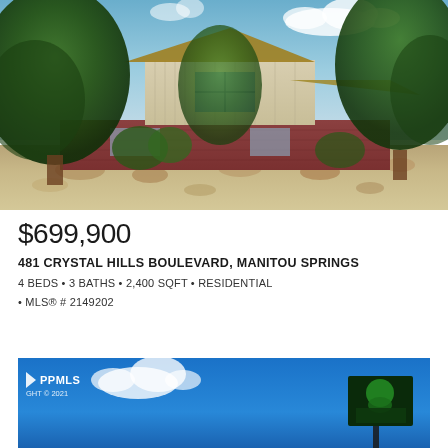[Figure (photo): Exterior photo of a residential home at 481 Crystal Hills Boulevard, Manitou Springs. A mid-century modern style house with tan/beige upper siding and brick lower level, surrounded by large mature green trees. Rocky landscaping in the foreground. Blue sky with clouds visible above.]
$699,900
481 CRYSTAL HILLS BOULEVARD, MANITOU SPRINGS
4 BEDS • 3 BATHS • 2,400 SQFT • RESIDENTIAL
• MLS® # 2149202
[Figure (photo): Partial view of a second photo showing blue sky and what appears to be a street sign or real estate sign, with PPMLS watermark and copyright 2021 in the upper left corner.]